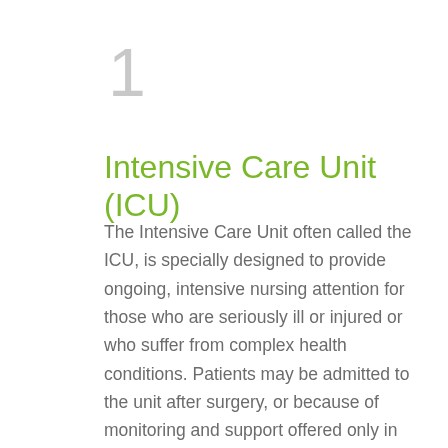1
Intensive Care Unit (ICU)
The Intensive Care Unit often called the ICU, is specially designed to provide ongoing, intensive nursing attention for those who are seriously ill or injured or who suffer from complex health conditions. Patients may be admitted to the unit after surgery, or because of monitoring and support offered only in the intensive care unit. Admission to and transfer from the unit takes place when the physician and nurse decide that it is best for the patient to be in the intensive care unit. This makes it possible to keep a